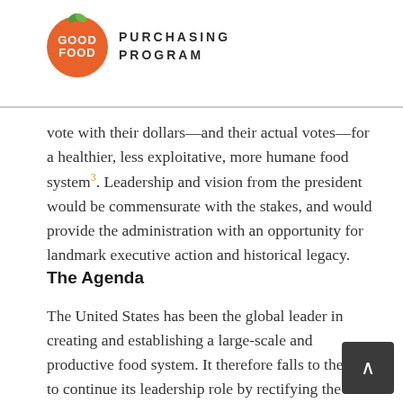[Figure (logo): Good Food Purchasing Program logo: orange circle with white text 'GOOD FOOD' and green leaves on top, next to bold uppercase text 'PURCHASING PROGRAM']
vote with their dollars—and their actual votes—for a healthier, less exploitative, more humane food system³. Leadership and vision from the president would be commensurate with the stakes, and would provide the administration with an opportunity for landmark executive action and historical legacy.
The Agenda
The United States has been the global leader in creating and establishing a large-scale and productive food system. It therefore falls to the U.S. to continue its leadership role by rectifying the shortfalls of that system, demonstrating how to reshape it for the 21st century so that it meets its reason for being. That reason is to produce a wholesome and healthful food supply for